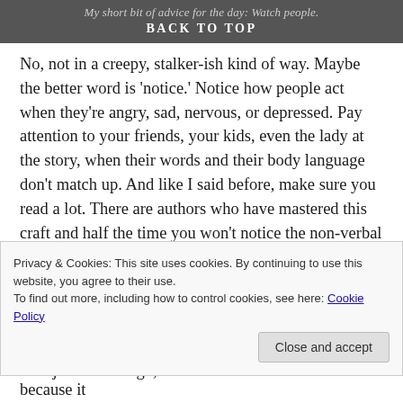My short bit of advice for the day: Watch people.
BACK TO TOP
No, not in a creepy, stalker-ish kind of way. Maybe the better word is 'notice.' Notice how people act when they're angry, sad, nervous, or depressed. Pay attention to your friends, your kids, even the lady at the story, when their words and their body language don't match up. And like I said before, make sure you read a lot. There are authors who have mastered this craft and half the time you won't notice the non-verbal stuff unless you're looking for it. Then take notes so that when you're in a heated scene and you just can't think of how to express the intensity of emotion, you'll have some ideas of where to turn (please don't plagiarize, these notes are just to
Privacy & Cookies: This site uses cookies. By continuing to use this website, you agree to their use.
To find out more, including how to control cookies, see here: Cookie Policy
And just for a laugh, I had to include this chart because it